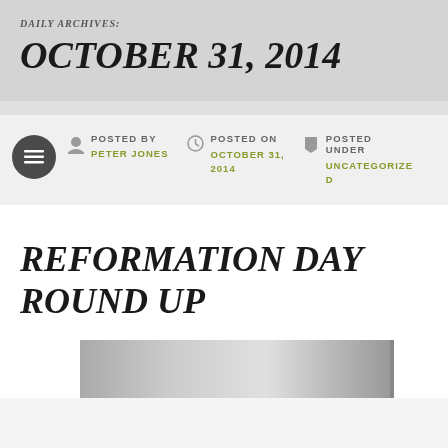DAILY ARCHIVES: OCTOBER 31, 2014
POSTED BY PETER JONES | POSTED ON OCTOBER 31, 2014 | POSTED UNDER UNCATEGORIZED
REFORMATION DAY ROUND UP
[Figure (photo): Partial grey/silver image at bottom of page]